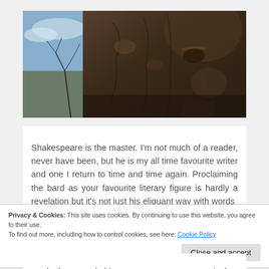[Figure (photo): Close-up photograph of a stone sculpture of a human face (likely Shakespeare), carved in dark brownish stone, with a cloudy blue sky and bare tree branches visible in the upper left background.]
Shakespeare is the master. I'm not much of a reader, never have been, but he is my all time favourite writer and one I return to time and time again. Proclaiming the bard as your favourite literary figure is hardly a revelation but it's not just his eliquant way with words
Privacy & Cookies: This site uses cookies. By continuing to use this website, you agree to their use.
To find out more, including how to control cookies, see here: Cookie Policy
read  them  and  his,  some  may  say,  cynical